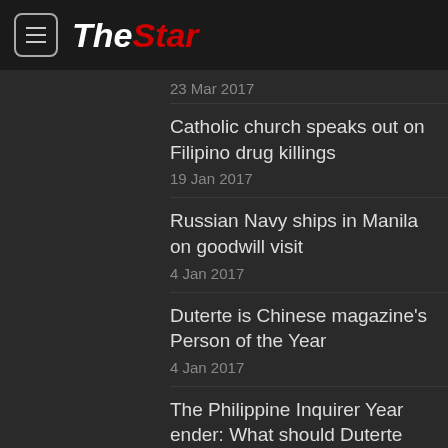The Star
23 Mar 2017
Catholic church speaks out on Filipino drug killings
19 Jan 2017
Russian Navy ships in Manila on goodwill visit
4 Jan 2017
Duterte is Chinese magazine's Person of the Year
4 Jan 2017
The Philippine Inquirer Year ender: What should Duterte focus on after the war on drugs?
3 Jan 2017